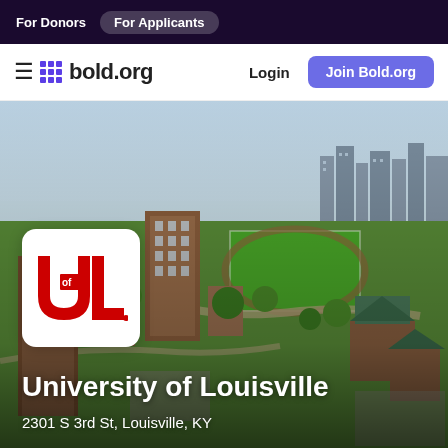For Donors  For Applicants
bold.org  Login  Join Bold.org
[Figure (photo): Aerial view of University of Louisville campus with brick buildings, clock tower, green trees, sports fields, and city skyline in background]
[Figure (logo): University of Louisville UofL logo — red U and L letters with small 'of' in white on red background]
University of Louisville
2301 S 3rd St, Louisville, KY